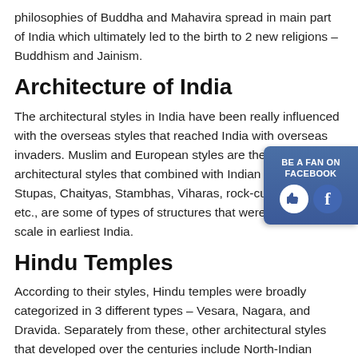philosophies of Buddha and Mahavira spread in main part of India which ultimately led to the birth to 2 new religions – Buddhism and Jainism.
Architecture of India
The architectural styles in India have been really influenced with the overseas styles that reached India with overseas invaders. Muslim and European styles are the famous architectural styles that combined with Indian style. Stupas, Chaityas, Stambhas, Viharas, rock-cut temples, etc., are some of types of structures that were built on a big scale in earliest India.
Hindu Temples
According to their styles, Hindu temples were broadly categorized in 3 different types – Vesara, Nagara, and Dravida. Separately from these, other architectural styles that developed over the centuries include North-Indian style, Western Indian style, Deccan Style, South-Indian